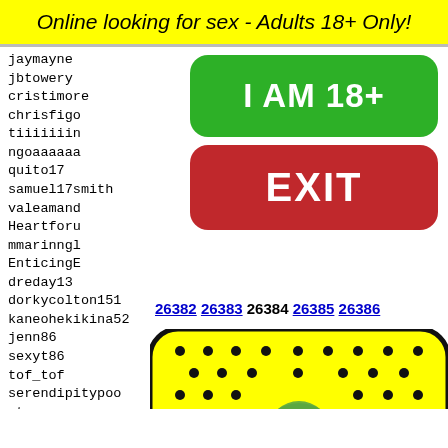Online looking for sex - Adults 18+ Only!
jaymayne
jbtowery
cristimore
chrisfigo
tiiiiiiin
ngoaaaaaa
quito17
samuel17smith
valeamand
Heartforu
mmarinngl
EnticingE
dreday13
dorkycolton151
kaneohekikina52
jenn86
sexyt86
tof_tof
serendipitypoo
starma
vy2hot
hawkcr
1mike1
toncat
emiill
[Figure (infographic): Green rounded rectangle button with white bold text 'I AM 18+']
[Figure (infographic): Red rounded rectangle button with white bold text 'EXIT']
26382 26383 26384 26385 26386
[Figure (illustration): Snapchat ghost logo on yellow background with black dots pattern]